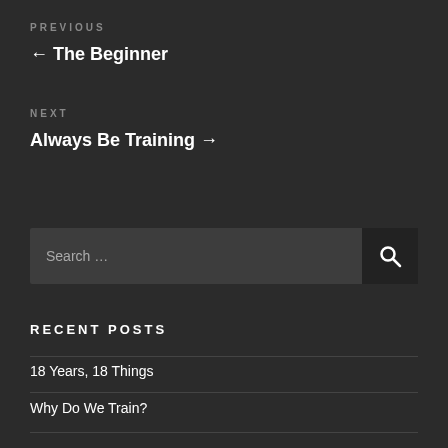PREVIOUS
← The Beginner
NEXT
Always Be Training →
Search …
RECENT POSTS
18 Years, 18 Things
Why Do We Train?